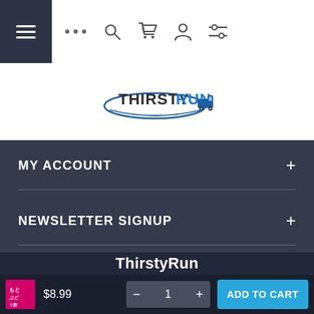[Figure (screenshot): Mobile website navigation bar with hamburger menu, dots, search, cart, account, and filter icons]
[Figure (logo): ThirstyRun logo with truck graphic and oval swoosh]
MY ACCOUNT
NEWSLETTER SIGNUP
[Figure (other): Social media icons: Facebook, Instagram, YouTube]
ThirstyRun
$8.99
1
ADD TO CART